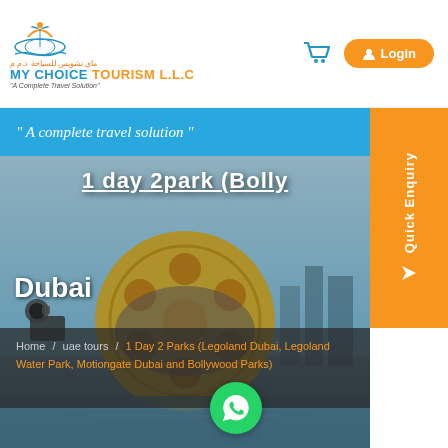[Figure (logo): My Choice Tourism LLC logo with Arabic text and tagline 'A Complete Travel Solution']
" A complete travel solution "
1 day 2park (Bolly...
Dubai
Home / uae tours / 1 Day 2 Parks (Legoland Dubai, Legoland Water Park, Motiongate Dubai and Bollywood Parks)
[Figure (photo): Hero background image of a theme park with a large film reel structure, likely Motiongate or Bollywood Parks Dubai]
[Figure (logo): Quick Enquiry tab on the right side]
[Figure (logo): WhatsApp button (green circle with WhatsApp icon)]